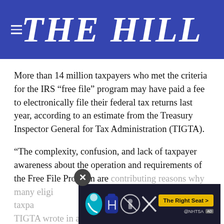THE HILL
More than 14 million taxpayers who met the criteria for the IRS “free file” program may have paid a fee to electronically file their federal tax returns last year, according to an estimate from the Treasury Inspector General for Tax Administration (TIGTA).
“The complexity, confusion, and lack of taxpayer awareness about the operation and requirements of the Free File Program are contributing reasons why many eligible taxpayers do not use the program,” TIGTA wrote in a report released this week.
[Figure (other): NHTSA advertisement banner with car seat safety icons and 'The Right Seat >' button, overlapping the article text]